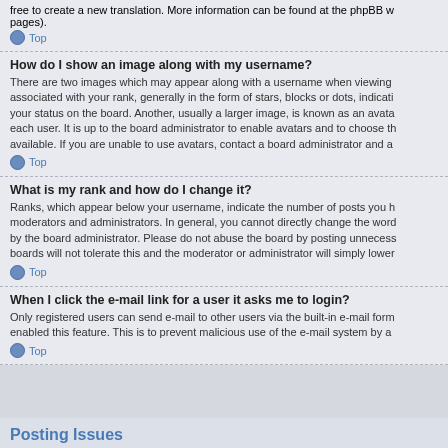free to create a new translation. More information can be found at the phpBB w pages).
Top
How do I show an image along with my username?
There are two images which may appear along with a username when viewing associated with your rank, generally in the form of stars, blocks or dots, indicati your status on the board. Another, usually a larger image, is known as an avata each user. It is up to the board administrator to enable avatars and to choose th available. If you are unable to use avatars, contact a board administrator and a
Top
What is my rank and how do I change it?
Ranks, which appear below your username, indicate the number of posts you h moderators and administrators. In general, you cannot directly change the wor by the board administrator. Please do not abuse the board by posting unnecess boards will not tolerate this and the moderator or administrator will simply lower
Top
When I click the e-mail link for a user it asks me to login?
Only registered users can send e-mail to other users via the built-in e-mail form enabled this feature. This is to prevent malicious use of the e-mail system by a
Top
Posting Issues